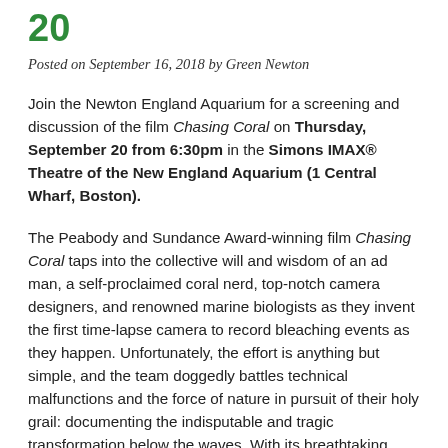20
Posted on September 16, 2018 by Green Newton
Join the Newton England Aquarium for a screening and discussion of the film Chasing Coral on Thursday, September 20 from 6:30pm in the Simons IMAX® Theatre of the New England Aquarium (1 Central Wharf, Boston).
The Peabody and Sundance Award-winning film Chasing Coral taps into the collective will and wisdom of an ad man, a self-proclaimed coral nerd, top-notch camera designers, and renowned marine biologists as they invent the first time-lapse camera to record bleaching events as they happen. Unfortunately, the effort is anything but simple, and the team doggedly battles technical malfunctions and the force of nature in pursuit of their holy grail: documenting the indisputable and tragic transformation below the waves. With its breathtaking photography, nail-biting suspense, and